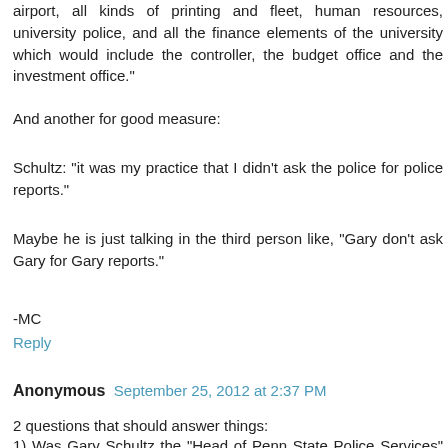airport, all kinds of printing and fleet, human resources, university police, and all the finance elements of the university which would include the controller, the budget office and the investment office."
And another for good measure:
Schultz: "it was my practice that I didn't ask the police for police reports."
Maybe he is just talking in the third person like, "Gary don't ask Gary for Gary reports."
-MC
Reply
Anonymous September 25, 2012 at 2:37 PM
2 questions that should answer things:
1) Was Gary Schultz the "Head of Penn State Police Services" or "Vice President of Business and Finance"?